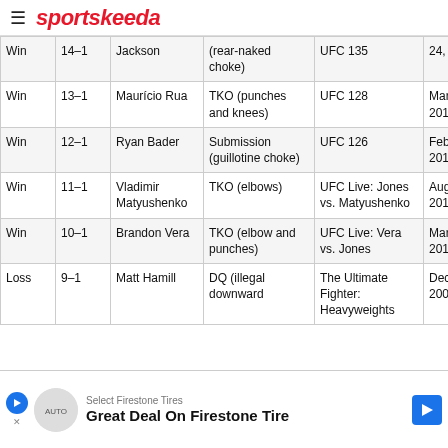sportskeeda
| Res. | Record | Opponent | Method | Event | Date |
| --- | --- | --- | --- | --- | --- |
| Win | 14–1 | Jackson | (rear-naked choke) | UFC 135 | 24, 2011 |
| Win | 13–1 | Maurício Rua | TKO (punches and knees) | UFC 128 | March 19, 2011 |
| Win | 12–1 | Ryan Bader | Submission (guillotine choke) | UFC 126 | February 5, 2011 |
| Win | 11–1 | Vladimir Matyushenko | TKO (elbows) | UFC Live: Jones vs. Matyushenko | August 1, 2010 |
| Win | 10–1 | Brandon Vera | TKO (elbow and punches) | UFC Live: Vera vs. Jones | March 21, 2010 |
| Loss | 9–1 | Matt Hamill | DQ (illegal downward | The Ultimate Fighter: Heavyweights | December 5, 2009 |